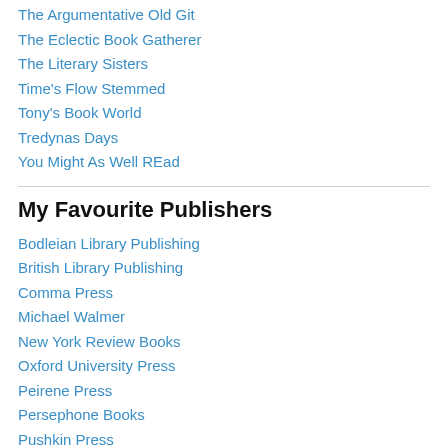The Argumentative Old Git
The Eclectic Book Gatherer
The Literary Sisters
Time's Flow Stemmed
Tony's Book World
Tredynas Days
You Might As Well REad
My Favourite Publishers
Bodleian Library Publishing
British Library Publishing
Comma Press
Michael Walmer
New York Review Books
Oxford University Press
Peirene Press
Persephone Books
Pushkin Press